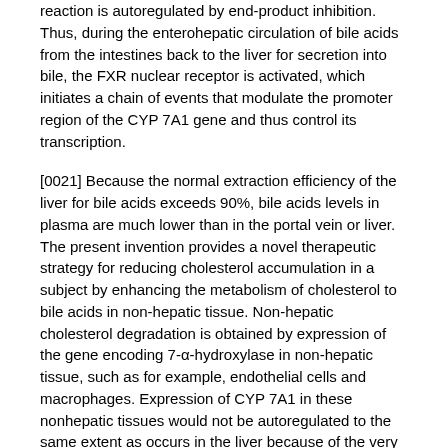reaction is autoregulated by end-product inhibition. Thus, during the enterohepatic circulation of bile acids from the intestines back to the liver for secretion into bile, the FXR nuclear receptor is activated, which initiates a chain of events that modulate the promoter region of the CYP 7A1 gene and thus control its transcription.
[0021] Because the normal extraction efficiency of the liver for bile acids exceeds 90%, bile acids levels in plasma are much lower than in the portal vein or liver. The present invention provides a novel therapeutic strategy for reducing cholesterol accumulation in a subject by enhancing the metabolism of cholesterol to bile acids in non-hepatic tissue. Non-hepatic cholesterol degradation is obtained by expression of the gene encoding 7-α-hydroxylase in non-hepatic tissue, such as for example, endothelial cells and macrophages. Expression of CYP 7A1 in these nonhepatic tissues would not be autoregulated to the same extent as occurs in the liver because of the very low bile acid levels. Similarly, upregulation of CYP7B1, the oxysterol 7α-hydroxylase normally expressed in macrophages and many other tissues, can enhance bile acid production via the oxysterol metabolic pathway.
[0022] Accordingly, in a sixth aspect, the invention provides a method of reducing cholesterol accumulation in a subject by increasing non-hepatic (extrahepatic) cholesterol degradation, comprising increasing the level of